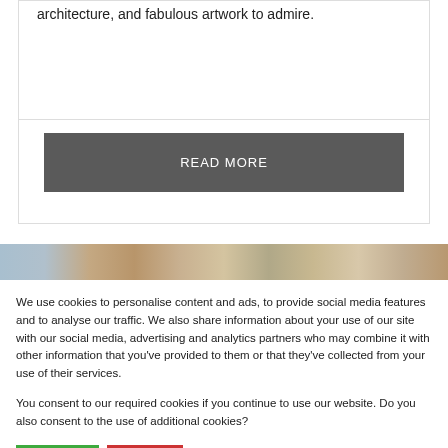architecture, and fabulous artwork to admire.
READ MORE
[Figure (photo): Partial view of a city scene with blue sky and architecture — a horizontal photo strip]
We use cookies to personalise content and ads, to provide social media features and to analyse our traffic. We also share information about your use of our site with our social media, advertising and analytics partners who may combine it with other information that you've provided to them or that they've collected from your use of their services.
You consent to our required cookies if you continue to use our website. Do you also consent to the use of additional cookies?
YES
NO